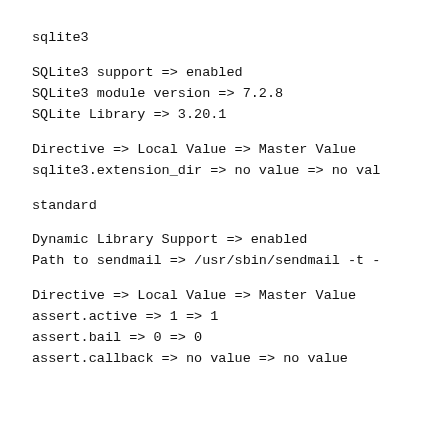sqlite3
SQLite3 support => enabled
SQLite3 module version => 7.2.8
SQLite Library => 3.20.1
Directive => Local Value => Master Value
sqlite3.extension_dir => no value => no val
standard
Dynamic Library Support => enabled
Path to sendmail => /usr/sbin/sendmail -t -
Directive => Local Value => Master Value
assert.active => 1 => 1
assert.bail => 0 => 0
assert.callback => no value => no value